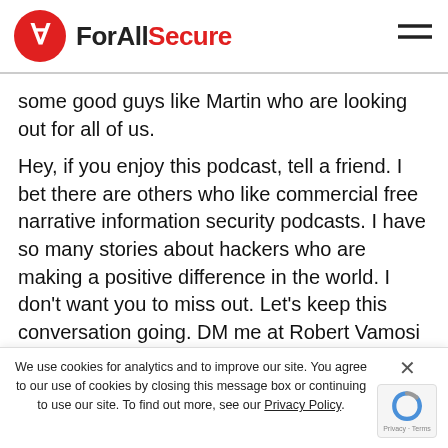ForAllSecure
some good guys like Martin who are looking out for all of us.
Hey, if you enjoy this podcast, tell a friend. I bet there are others who like commercial free narrative information security podcasts. I have so many stories about hackers who are making a positive difference in the world. I don't want you to miss out. Let's keep this conversation going. DM me at Robert Vamosi on Twitter or
We use cookies for analytics and to improve our site. You agree to our use of cookies by closing this message box or continuing to use our site. To find out more, see our Privacy Policy.